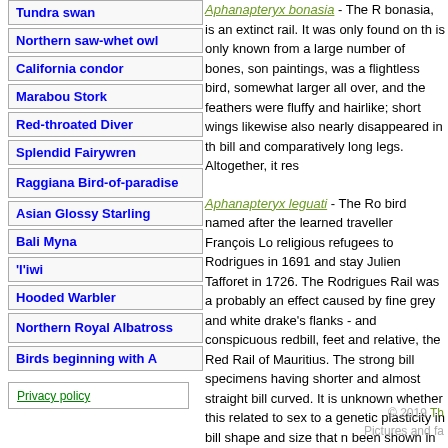Tundra swan
Northern saw-whet owl
California condor
Marabou Stork
Red-throated Diver
Splendid Fairywren
Raggiana Bird-of-paradise
Asian Glossy Starling
Bali Myna
'I'iwi
Hooded Warbler
Northern Royal Albatross
Birds beginning with A
Privacy policy
Aphanapteryx bonasia - The bonasia, is an extinct rail. It was only found on th is only known from a large number of bones, son paintings, was a flightless bird, somewhat larger all over, and the feathers were fluffy and hairlike; short wings likewise also nearly disappeared in th bill and comparatively long legs. Altogether, it res
Aphanapteryx leguati - The Ro bird named after the learned traveller François Lo religious refugees to Rodrigues in 1691 and stay Julien Tafforet in 1726. The Rodrigues Rail was a probably an effect caused by fine grey and white drake's flanks - and conspicuous redbill, feet and relative, the Red Rail of Mauritius. The strong bill specimens having shorter and almost straight bill curved. It is unknown whether this related to sex to a genetic plasticity in bill shape and size that n been shown in some Darwin's finches. Leguat's a marked differenc
© 2019 Th Pictures and fa